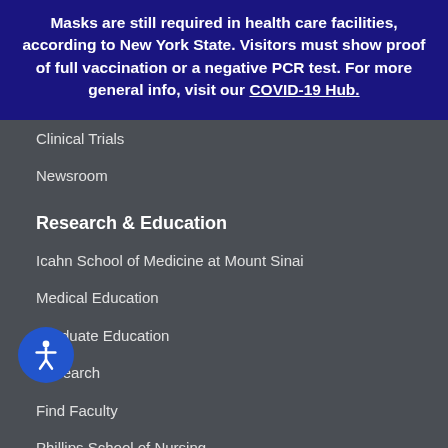Masks are still required in health care facilities, according to New York State. Visitors must show proof of full vaccination or a negative PCR test. For more general info, visit our COVID-19 Hub.
Clinical Trials
Newsroom
Research & Education
Icahn School of Medicine at Mount Sinai
Medical Education
Graduate Education
Research
Find Faculty
Phillips School of Nursing
For Health Professionals
Transfer a Patient
Mount Sinai Connect
Refer a Patient